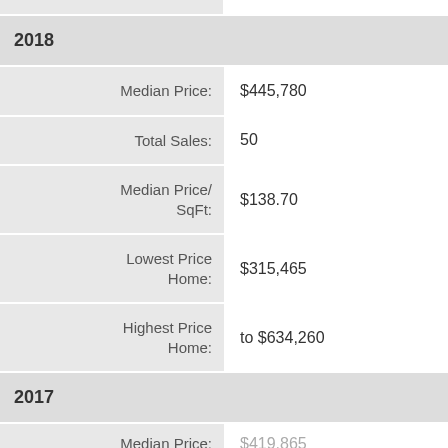| Field | Value |
| --- | --- |
| 2018 |  |
| Median Price: | $445,780 |
| Total Sales: | 50 |
| Median Price/ SqFt: | $138.70 |
| Lowest Price Home: | $315,465 |
| Highest Price Home: | to $634,260 |
| 2017 |  |
| Median Price: | $419,865 |